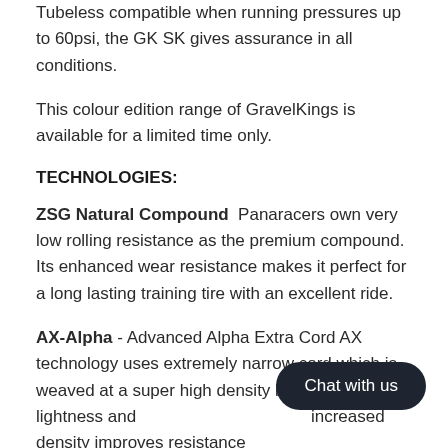Tubeless compatible when running pressures up to 60psi, the GK SK gives assurance in all conditions.
This colour edition range of GravelKings is available for a limited time only.
TECHNOLOGIES:
ZSG Natural Compound  Panaracers own very low rolling resistance as the premium compound. Its enhanced wear resistance makes it perfect for a long lasting training tire with an excellent ride.
AX-Alpha - Advanced Alpha Extra Cord AX technology uses extremely narrow cord which is weaved at a super high density into the casing for lightness and increased density improves resistance to ons.
Anti-Flat Casing  Anti-puncture reinforcement throughout